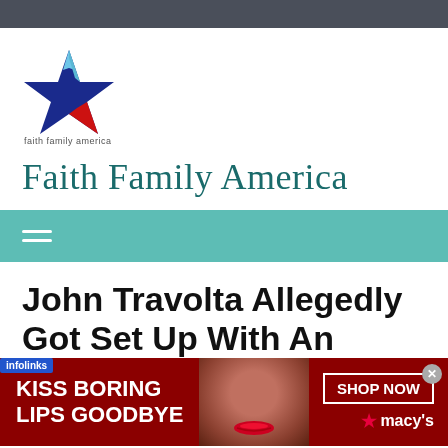[Figure (logo): Faith Family America star logo with blue, red, and light blue colors, with text 'faith family america' below]
Faith Family America
[Figure (other): Teal navigation bar with hamburger menu icon (three white horizontal lines)]
John Travolta Allegedly Got Set Up With An
[Figure (other): Macy's advertisement banner: 'KISS BORING LIPS GOODBYE' with a woman's face and red lips, SHOP NOW button, Macys star logo, and infolinks badge. Red background.]